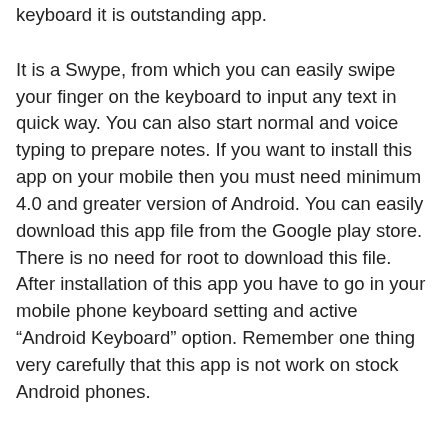keyboard it is outstanding app.
It is a Swype, from which you can easily swipe your finger on the keyboard to input any text in quick way. You can also start normal and voice typing to prepare notes. If you want to install this app on your mobile then you must need minimum 4.0 and greater version of Android. You can easily download this app file from the Google play store. There is no need for root to download this file. After installation of this app you have to go in your mobile phone keyboard setting and active “Android Keyboard” option. Remember one thing very carefully that this app is not work on stock Android phones.